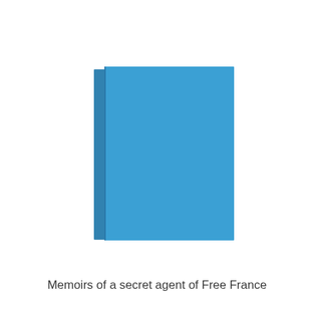[Figure (illustration): A plain blue book cover illustration shown in 3D perspective. The book has a light blue main cover and a slightly darker blue spine on the left side. The cover is blank with no text or imagery on it.]
Memoirs of a secret agent of Free France